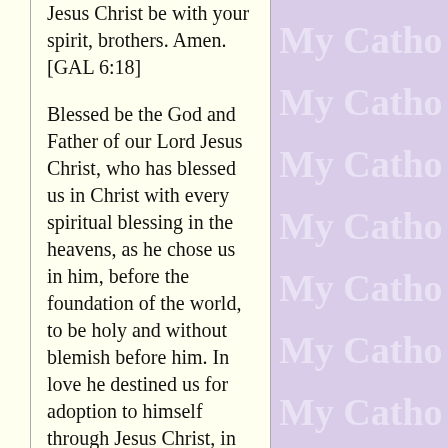Jesus Christ be with your spirit, brothers. Amen. [GAL 6:18]
Blessed be the God and Father of our Lord Jesus Christ, who has blessed us in Christ with every spiritual blessing in the heavens, as he chose us in him, before the foundation of the world, to be holy and without blemish before him. In love he destined us for adoption to himself through Jesus Christ, in accord with the favor of his will, for the praise of the glory of his grace that he granted us in the beloved. [EPH 1:3-6]
In him we were also chosen, destined in accord with the purpose of the...